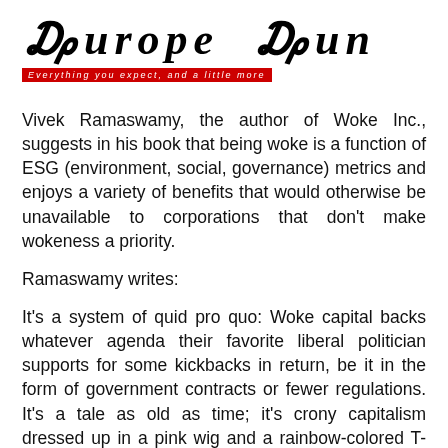Europe Sun — Everything you expect, and a little more
Vivek Ramaswamy, the author of Woke Inc., suggests in his book that being woke is a function of ESG (environment, social, governance) metrics and enjoys a variety of benefits that would otherwise be unavailable to corporations that don't make wokeness a priority.
Ramaswamy writes:
It's a system of quid pro quo: Woke capital backs whatever agenda their favorite liberal politician supports for some kickbacks in return, be it in the form of government contracts or fewer regulations. It's a tale as old as time; it's crony capitalism dressed up in a pink wig and a rainbow-colored T-shirt.